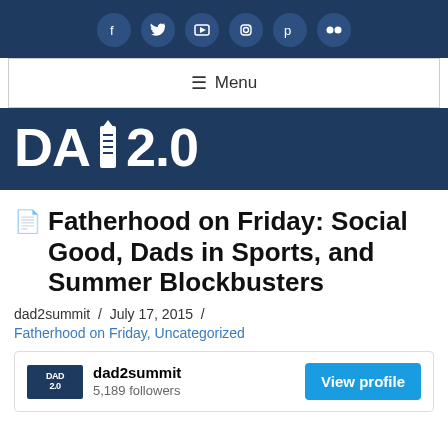Social media icons: Facebook, Twitter, YouTube, Instagram, Pinterest, Flickr
☰ Menu
[Figure (logo): DAD 2.0 logo in white text on dark navy background]
Fatherhood on Friday: Social Good, Dads in Sports, and Summer Blockbusters
dad2summit  /  July 17, 2015  /
Fatherhood on Friday, Uncategorized
[Figure (infographic): dad2summit profile card showing logo, name, 5,189 followers, and View profile button]